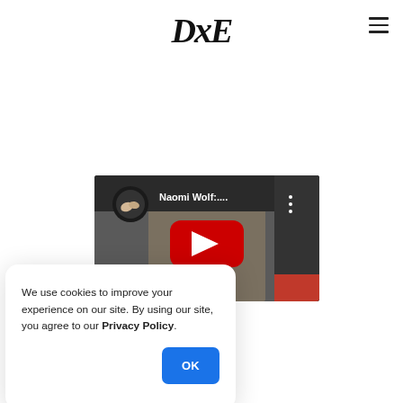DCE (logo) with hamburger menu
[Figure (screenshot): YouTube video thumbnail showing a person with raised hands, title 'Naomi Wolf:...' with a red play button in the center and a circular channel icon in the top left]
We use cookies to improve your experience on our site. By using our site, you agree to our Privacy Policy.